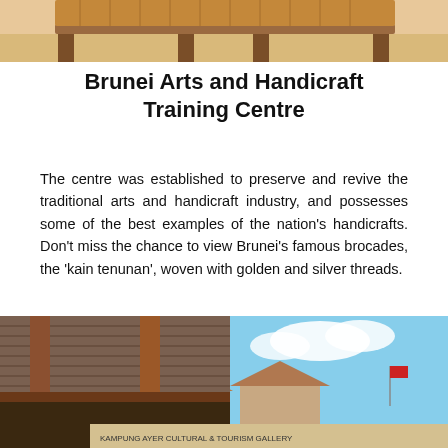[Figure (photo): Top portion of a traditional Brunei handicraft or wooden structure with thatched/woven roof details, warm brown tones]
Brunei Arts and Handicraft Training Centre
The centre was established to preserve and revive the traditional arts and handicraft industry, and possesses some of the best examples of the nation's handicrafts. Don't miss the chance to view Brunei's famous brocades, the 'kain tenunan', woven with golden and silver threads.
[Figure (photo): Photo of a covered outdoor structure or market building with wooden beams and corrugated metal roof, blue sky visible, with a sign in Arabic/Malay script partially visible at the bottom]